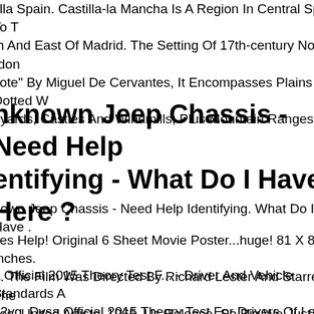tilla Spain. Castilla-la Mancha Is A Region In Central Spain To The South And East Of Madrid. The Setting Of 17th-century Novel "don Quixote" By Miguel De Cervantes, It Encompasses Plains Dotted With Vineyards, Castles And Windmills, Plus Mountain Ranges.
Unknown Jeep Chassis - Need Help Identifying - What Do I Have Here ?
Unknown Jeep Chassis - Need Help Identifying. What Do I Have .
Beatles Help! Original 6 Sheet Movie Poster...huge! 81 X 81 Inches. 1965. The Film Was Directed By Richard Lester And Starred The Beatles. United Artists, 1965. Us Release. So Big We Just Couldn't Get A Proper Photo.sorry.
Dvsa Official 2015 Theory Test F... - Driver And Vehicle Standards Agency. 02vg. Dvsa Official 2015 Theory Test For Drivers Of Large Vehicles. Cd-rom. Artistdriver And Vehicle Standards Agency. All Of Our Paper Waste Is Recycled Within The Uk And Turned Into Corrugated